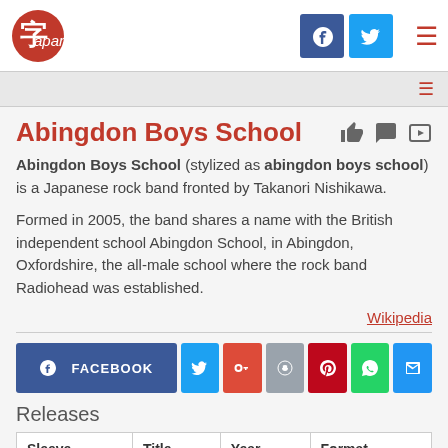Japanga — Facebook, Twitter social icons, hamburger menu
Abingdon Boys School
Abingdon Boys School (stylized as abingdon boys school) is a Japanese rock band fronted by Takanori Nishikawa.
Formed in 2005, the band shares a name with the British independent school Abingdon School, in Abingdon, Oxfordshire, the all-male school where the rock band Radiohead was established.
Wikipedia
[Figure (infographic): Social share buttons: Facebook, Twitter, Google+, Reddit, Pinterest, WhatsApp, Email]
Releases
| Sleeve | Title | Year | Format |
| --- | --- | --- | --- |